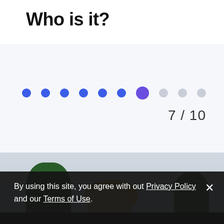Who is it?
[Figure (infographic): Progress indicator showing 10 dots in a row. First 6 are blue, 7th is larger and purple (active), last 3 are light grey. Score '7 / 10' shown to the right below dots.]
[Figure (photo): Outdoor photograph showing a person with short blonde/light brown hair. Background shows green trees and a grey overcast sky. Lower portion of image is dark/shadowed.]
By using this site, you agree with out Privacy Policy and our Terms of Use.